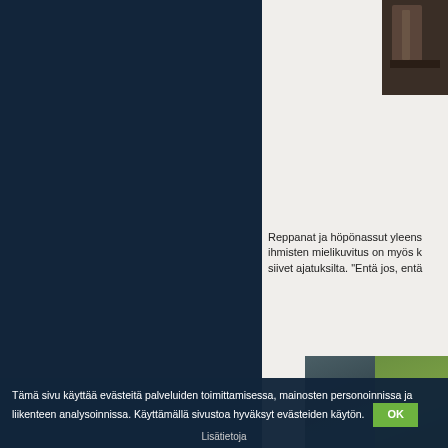[Figure (photo): Small photo in top-right corner showing dark brownish/furniture object]
Reppanat ja höpönassut yleens ihmisten mielikuvitus on myös k siivet ajatuksilta. "Entä jos, entä
[Figure (photo): Large photo showing two-tone image: dark blue-grey on left and green on right, appears to be outdoor/nature scene]
Tämä sivu käyttää evästeitä palveluiden toimittamisessa, mainosten personoinnissa ja liikenteen analysoinnissa. Käyttämällä sivustoa hyväksyt evästeiden käytön. OK
Lisätietoja